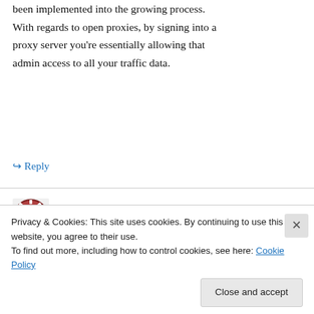been implemented into the growing process. With regards to open proxies, by signing into a proxy server you're essentially allowing that admin access to all your traffic data.
↪ Reply
casino arizona bingo on July 30, 2015 at 1:13 pm
You need to start trying into the way in which to go about that form of casino bonuses this afternoon
Privacy & Cookies: This site uses cookies. By continuing to use this website, you agree to their use.
To find out more, including how to control cookies, see here: Cookie Policy